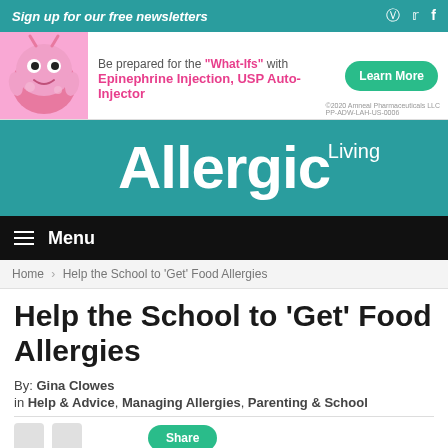Sign up for our free newsletters
[Figure (illustration): Advertisement banner: cartoon monster character with text 'Be prepared for the "What-Ifs" with Epinephrine Injection, USP Auto-Injector' and a green 'Learn More' button. Disclaimer: ©2020 Amneal Pharmaceuticals LLC PP-ADW-LAH-US-0006]
[Figure (logo): Allergic Living logo in white text on teal background]
Menu
Home > Help the School to 'Get' Food Allergies
Help the School to 'Get' Food Allergies
By: Gina Clowes
in Help & Advice, Managing Allergies, Parenting & School